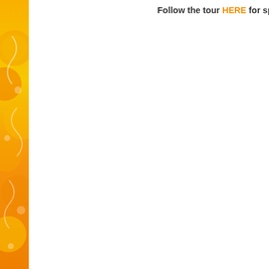[Figure (illustration): Decorative orange sidebar with swirls and citrus fruit illustrations]
Follow the tour HERE for speci
| IT'S OVER! | 6 6 2 3 |
| --- | --- |
| $50 Am |  |
| This contest is no longe |  |
$50 Am
This contest is no longe